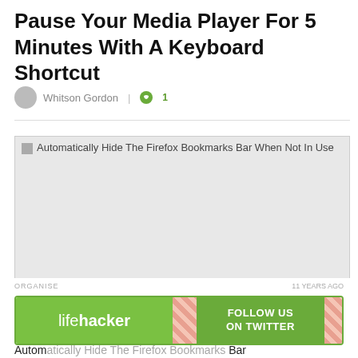Pause Your Media Player For 5 Minutes With A Keyboard Shortcut
Whitson Gordon | 1
[Figure (screenshot): Broken image placeholder with alt text: Automatically Hide The Firefox Bookmarks Bar When Not In Use]
ORGANISE
11 YEARS AGO
[Figure (other): Lifehacker advertisement banner with logo on green background and FOLLOW US ON TWITTER call to action]
Automatically Hide The Firefox Bookmarks Bar When Not In Use